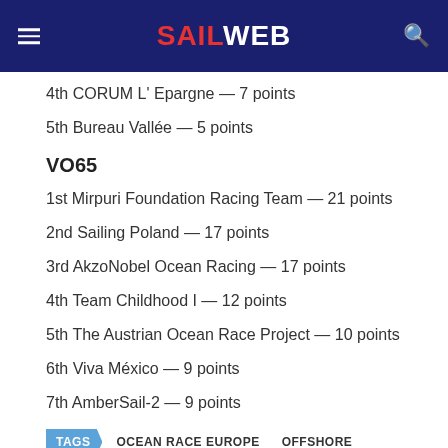SAILWEB
4th CORUM L' Epargne — 7 points
5th Bureau Vallée — 5 points
VO65
1st Mirpuri Foundation Racing Team — 21 points
2nd Sailing Poland — 17 points
3rd AkzoNobel Ocean Racing — 17 points
4th Team Childhood I — 12 points
5th The Austrian Ocean Race Project — 10 points
6th Viva México — 9 points
7th AmberSail-2 — 9 points
TAGS  OCEAN RACE EUROPE  OFFSHORE
Share This